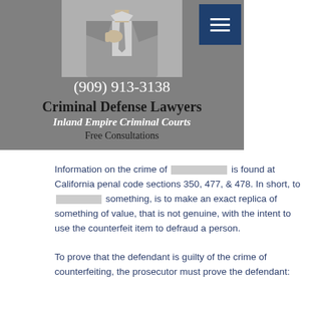[Figure (photo): Man in gray suit adjusting tie, headless/torso shot, black and white or desaturated photo]
(909) 913-3138
Criminal Defense Lawyers
Inland Empire Criminal Courts
Free Consultations
Information on the crime of [redacted] is found at California penal code sections 350, 477, & 478. In short, to [redacted] something, is to make an exact replica of something of value, that is not genuine, with the intent to use the counterfeit item to defraud a person.
To prove that the defendant is guilty of the crime of counterfeiting, the prosecutor must prove the defendant: